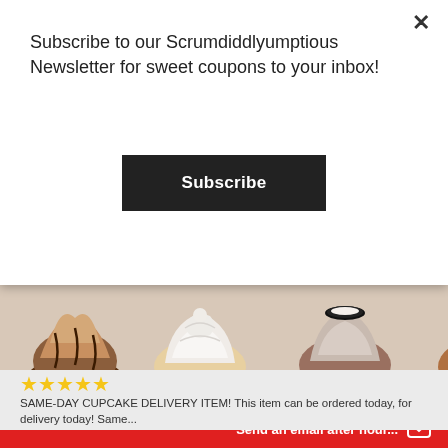Subscribe to our Scrumdiddlyumptious Newsletter for sweet coupons to your inbox!
Subscribe
[Figure (photo): Four cupcakes with various frostings: chocolate drizzle, white swirl, cookies and cream with Oreo, and caramel swirl]
SAME-DAY BEST SELLER CUPCAKES
★★★★★
SAME-DAY CUPCAKE DELIVERY ITEM! This item can be ordered today, for delivery today! Same...
$30.00 – $205.00
Send an email after hour...